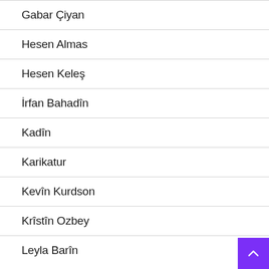Gabar Çiyan
Hesen Almas
Hesen Keleş
İrfan Bahadîn
Kadîn
Karikatur
Kevîn Kurdson
Krîstîn Ozbey
Leyla Barîn